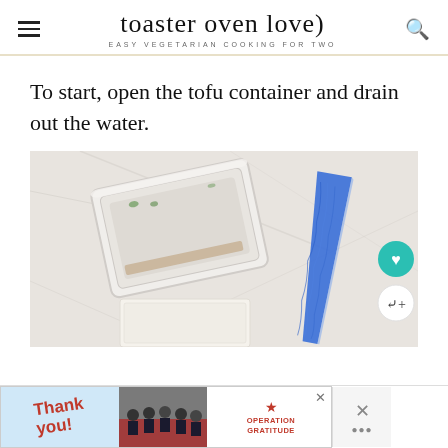toaster oven love — EASY VEGETARIAN COOKING FOR TWO
To start, open the tofu container and drain out the water.
[Figure (photo): Overhead view of an open white tofu container and a blue-handled knife on a white cutting board, with a block of tofu visible in the lower portion of the image.]
[Figure (photo): Advertisement banner at the bottom showing a 'Thank you' note with Operation Gratitude branding and military personnel photo.]